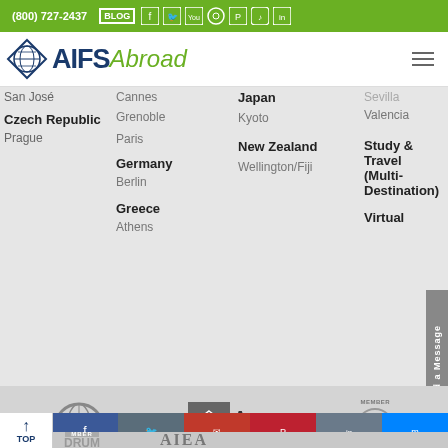(800) 727-2437 BLOG [social icons]
[Figure (logo): AIFS Abroad logo with diamond globe icon]
San José
Czech Republic
Prague
Cannes
Grenoble
Paris
Germany
Berlin
Greece
Athens
Japan
Kyoto
New Zealand
Wellington/Fiji
Sevilla
Valencia
Study & Travel (Multi-Destination)
Virtual
[Figure (logo): NAFSA Global Advocate globe logo — A NAFSA Global Advocate]
[Figure (logo): BBB A+ Rating Accredited Since 1991 Online Accredited Business]
[Figure (logo): Diversity in Global Education Network member logo]
[Figure (logo): Forum on Education Abroad member logo (partial)]
[Figure (logo): AIEA logo (partial)]
Share buttons: Facebook, Twitter, Email, Pinterest, LinkedIn, Messenger | TOP button